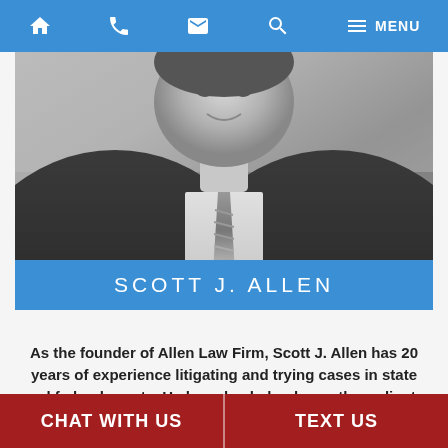Navigation bar with home, phone, email, search, and menu icons
[Figure (photo): Black and white portrait photo of Scott J. Allen, a man in a dark suit with a striped tie, smiling]
SCOTT J. ALLEN
As the founder of Allen Law Firm, Scott J. Allen has 20 years of experience litigating and trying cases in state and federal courts. He has also helped countless clients resolve disputes through alternative dispute resolution mechanisms such
CHAT WITH US | TEXT US